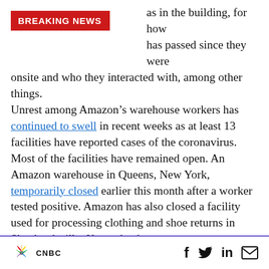[Figure (other): Breaking News red banner label overlay]
as in the building, for how has passed since they were onsite and who they interacted with, among other things.
Unrest among Amazon’s warehouse workers has continued to swell in recent weeks as at least 13 facilities have reported cases of the coronavirus. Most of the facilities have remained open. An Amazon warehouse in Queens, New York, temporarily closed earlier this month after a worker tested positive. Amazon has also closed a facility used for processing clothing and shoe returns in Shepherdsville, Kentucky, known as
CNBC  f  Twitter  in  mail